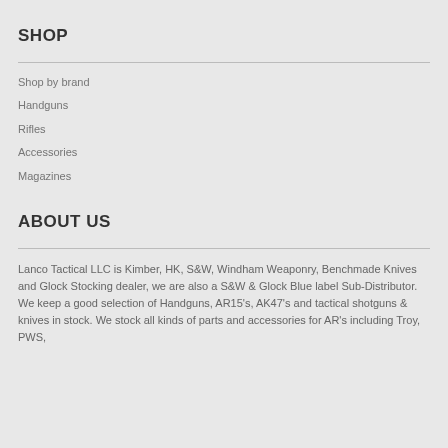SHOP
Shop by brand
Handguns
Rifles
Accessories
Magazines
ABOUT US
Lanco Tactical LLC is Kimber, HK, S&W, Windham Weaponry, Benchmade Knives and Glock Stocking dealer, we are also a S&W & Glock Blue label Sub-Distributor. We keep a good selection of Handguns, AR15's, AK47's and tactical shotguns & knives in stock. We stock all kinds of parts and accessories for AR's including Troy, PWS,